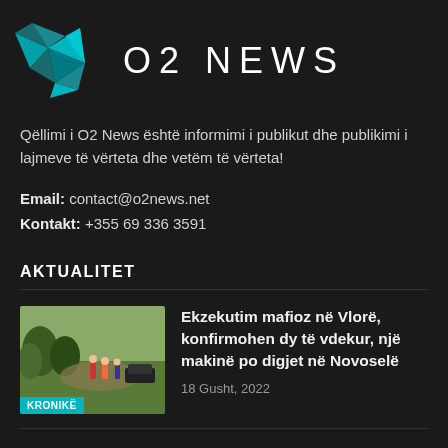[Figure (logo): O2 News logo with teal geometric bird/arrow shape and O2 NEWS text in white]
Qëllimi i O2 News është informimi i publikut dhe publikimi i lajmeve të vërteta dhe vetëm të vërteta!
Email: contact@o2news.net
Kontakt: +355 69 336 3591
AKTUALITET
[Figure (photo): News article thumbnail showing people near water/flooding scene, labeled KRONIKË]
Ekzekutim mafioz në Vlorë, konfirmohen dy të vdekur, një makinë po digjet në Novoselë
18 Gusht, 2022